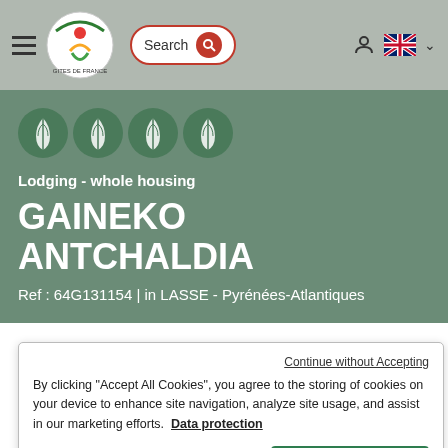[Figure (screenshot): Navigation bar with hamburger menu, Gites de France logo, search bar, user icon, and UK flag language selector]
[Figure (illustration): Four green circular wheat/ear icons representing quality rating]
Lodging - whole housing
GAINEKO ANTCHALDIA
Ref : 64G131154 | in LASSE - Pyrénées-Atlantiques
Continue without Accepting
By clicking "Accept All Cookies", you agree to the storing of cookies on your device to enhance site navigation, analyze site usage, and assist in our marketing efforts.  Data protection
Cookies Settings
Accept All Cookies